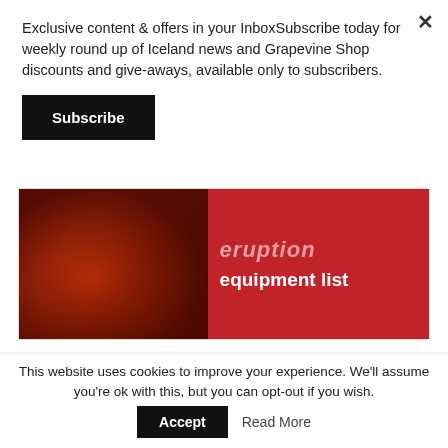Exclusive content & offers in your InboxSubscribe today for weekly round up of Iceland news and Grapevine Shop discounts and give-aways, available only to subscribers.
Subscribe
[Figure (illustration): Advertisement banner with a photo of a person in red jacket on volcanic landscape on the left, and red background with text 'eruption' and 'equipment list' on the right.]
Search for
1. LIVE TRAFFIC SURVEILLANCE CAMERAS
This website uses cookies to improve your experience. We'll assume you're ok with this, but you can opt-out if you wish.
Accept
Read More